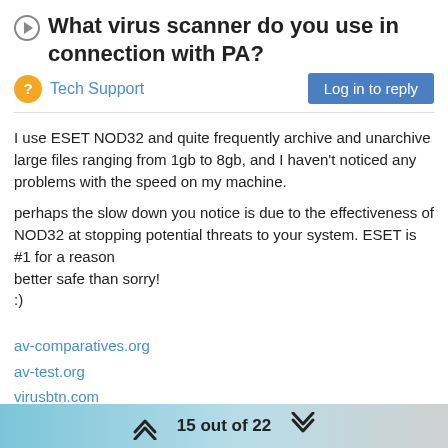What virus scanner do you use in connection with PA?
Tech Support
Log in to reply
I use ESET NOD32 and quite frequently archive and unarchive large files ranging from 1gb to 8gb, and I haven't noticed any problems with the speed on my machine.

perhaps the slow down you notice is due to the effectiveness of NOD32 at stopping potential threats to your system. ESET is #1 for a reason
better safe than sorry!
:)
av-comparatives.org
av-test.org
virusbtn.com
15 out of 22